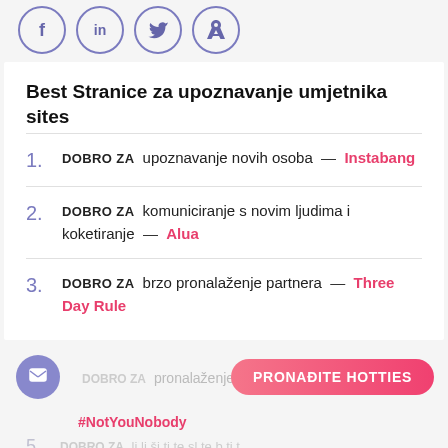[Figure (illustration): Social media share icons: Facebook (f), LinkedIn (in), Twitter bird, Pinterest (p) — circular purple-outlined icons]
Best Stranice za upoznavanje umjetnika sites
DOBRO ZA upoznavanje novih osoba — Instabang
DOBRO ZA komuniciranje s novim ljudima i koketiranje — Alua
DOBRO ZA brzo pronalaženje partnera — Three Day Rule
DOBRO ZA pronalaženje idealnog partnera — #NotYouNobody
5. DOBRO ZA ...